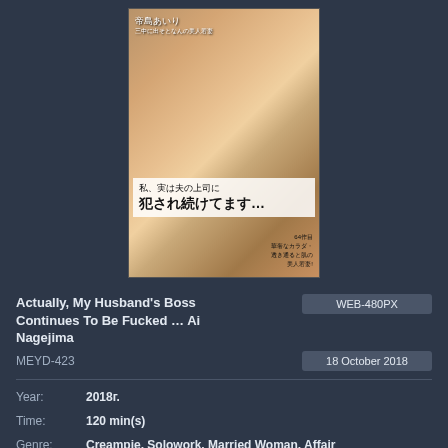[Figure (photo): DVD cover image showing a Japanese woman in a white dress with Japanese text overlay]
Actually, My Husband's Boss Continues To Be Fucked ... Ai Nagejima
WEB-480PX
MEYD-423
18 October 2018
Year: 2018r.
Time: 120 min(s)
Genre: Creampie, Solowork, Married Woman, Affair